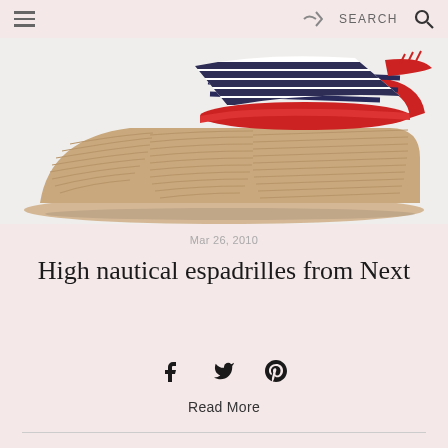≡  [share]  SEARCH  🔍
[Figure (photo): A high wedge espadrille shoe with nautical navy and white striped fabric strap over a red footbed, jute rope wedge sole, on a white background.]
Mar 26, 2010
High nautical espadrilles from Next
f  𝕏  P
Read More